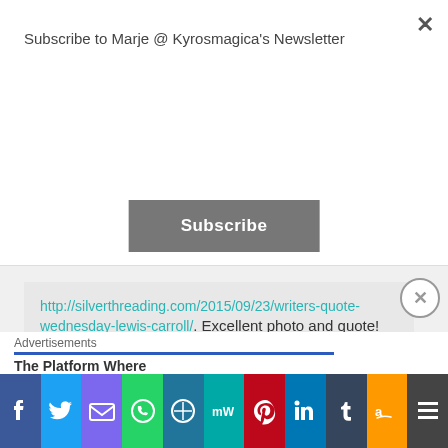Subscribe to Marje @ Kyrosmagica's Newsletter
Subscribe
http://silverthreading.com/2015/09/23/writers-quote-wednesday-lewis-carroll/. Excellent photo and quote! <3
Loading...
Marje @ Kyrosmagica
September 23, 2015 at 4:04 pm
Advertisements
The Platform Where